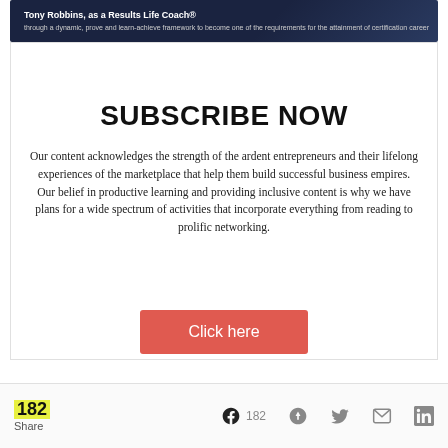[Figure (photo): Dark background banner with text about Tony Robbins Results Life Coach certification]
SUBSCRIBE NOW
Our content acknowledges the strength of the ardent entrepreneurs and their lifelong experiences of the marketplace that help them build successful business empires. Our belief in productive learning and providing inclusive content is why we have plans for a wide spectrum of activities that incorporate everything from reading to prolific networking.
[Figure (other): Click here button - coral/red colored call to action button]
182 Share | Facebook 182 | Pinterest | Twitter | Email | LinkedIn